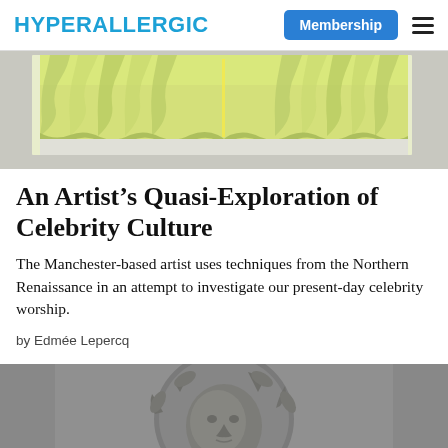HYPERALLERGIC — Membership
[Figure (photo): A painting or artwork depicting green/yellow draped curtains hung against a wall, shown partially cropped from below.]
An Artist's Quasi-Exploration of Celebrity Culture
The Manchester-based artist uses techniques from the Northern Renaissance in an attempt to investigate our present-day celebrity worship.
by Edmée Lepercq
[Figure (photo): A grey-toned sculpture of a face, appearing cherubic or angelic, with decorative elements around the head, photographed against a grey background.]